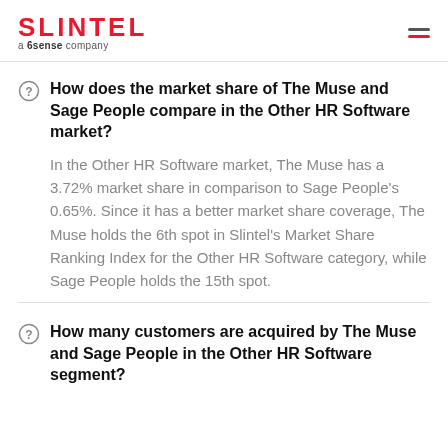SLINTEL a 6sense company
How does the market share of The Muse and Sage People compare in the Other HR Software market?
In the Other HR Software market, The Muse has a 3.72% market share in comparison to Sage People's 0.65%. Since it has a better market share coverage, The Muse holds the 6th spot in Slintel's Market Share Ranking Index for the Other HR Software category, while Sage People holds the 15th spot.
How many customers are acquired by The Muse and Sage People in the Other HR Software segment?